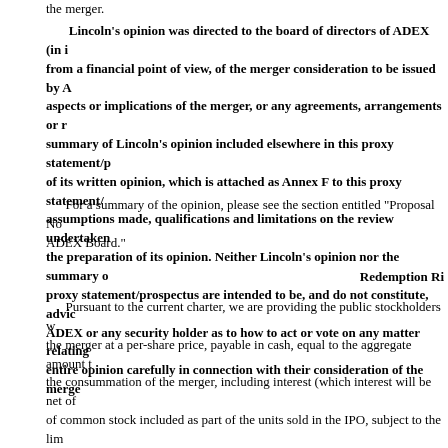the merger.
Lincoln's opinion was directed to the board of directors of ADEX (in its capacity as such) and only addressed the fairness, from a financial point of view, of the merger consideration to be issued by ADEX in the merger. It did not address any other aspects or implications of the merger, or any agreements, arrangements or matters related thereto. The description and summary of Lincoln's opinion included elsewhere in this proxy statement/prospectus is qualified in its entirety by the text of its written opinion, which is attached as Annex F to this proxy statement/prospectus and describes the procedures followed, assumptions made, qualifications and limitations on the review undertaken and other matters material to the preparation of its opinion. Neither Lincoln's opinion nor the summary of Lincoln's opinion included elsewhere in this proxy statement/prospectus are intended to be, and do not constitute, advice or a recommendation to any stockholder of ADEX or any security holder as to how to act or vote on any matter relating to the merger. We urge you to read the entire opinion carefully in connection with their consideration of the merger.
For a summary of the opinion, please see the section entitled "Proposal No. 1: The Business Combination Proposal — Opinion of ADEX Board."
Redemption Rights
Pursuant to the current charter, we are providing the public stockholders with the opportunity to redeem all or a portion of their shares of Class A common stock upon the completion of the merger at a per-share price, payable in cash, equal to the aggregate amount then on deposit in the trust account as of two business days prior to the consummation of the merger, including interest (which interest will be net of taxes payable), divided by the number of then outstanding shares of common stock included as part of the units sold in the IPO, subject to the limitations described herein. The amount we will distribute to investors who properly redeem their shares will not be reduced by the deferred underwriting commissions we will pay to the underwriters. We will not redeem our shares unless our net tangible assets will be at least $5,000,001 either immediately prior to or upon consummation of the merger (such that we are not subject to the SEC's "penny stock" rules). For illustrative purposes, based on the fair value of marketable securities held in the trust account as of the record date for the stockholders' meeting, of $          , the estimated per share redemption price would have been $          . Public stockholders may redeem their shares even if they vote for the merger proposal and the other